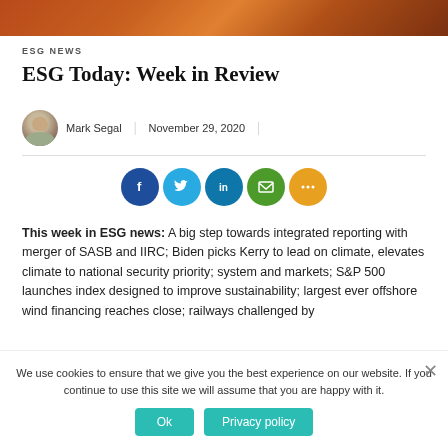[Figure (photo): Orange/red sunset or fire sky header image]
ESG NEWS
ESG Today: Week in Review
Mark Segal | November 29, 2020
[Figure (infographic): Social sharing buttons: Facebook, Twitter, LinkedIn, Email, More]
This week in ESG news: A big step towards integrated reporting with merger of SASB and IIRC; Biden picks Kerry to lead on climate, elevates climate to national security priority; system and markets; S&P 500 launches index designed to improve sustainability; largest ever offshore wind financing reaches close; railways challenged by
We use cookies to ensure that we give you the best experience on our website. If you continue to use this site we will assume that you are happy with it.
Ok
Privacy policy